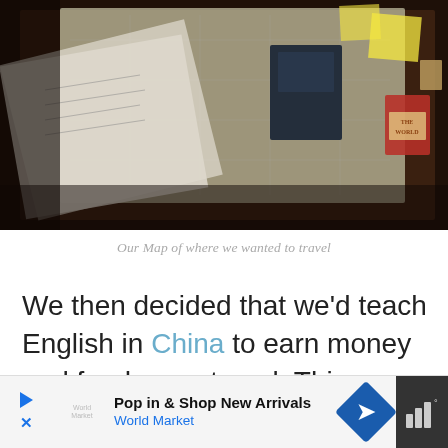[Figure (photo): A dark overhead photo of a table with papers, a map, a dark passport/booklet, a decorative box labeled 'THE WORLD', a red sticker/stamp, and sticky notes scattered around.]
Our Map of where we wanted to travel
We then decided that we'd teach English in China to earn money and fund more travel. This was our goal.
After 13 months of being home, working ridiculous hours and building the foundation fo...
[Figure (screenshot): Advertisement bar at bottom: 'Pop in & Shop New Arrivals' / 'World Market' with navigation arrow icon and signal bars icon.]